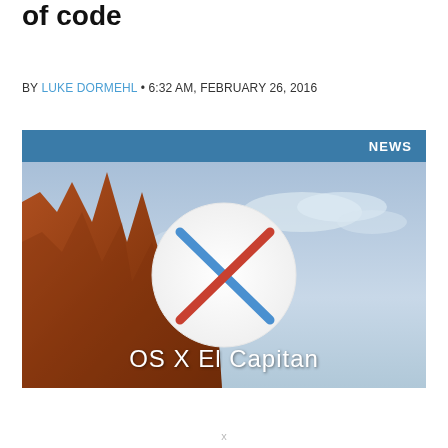of code
BY LUKE DORMEHL • 6:32 AM, FEBRUARY 26, 2016
[Figure (screenshot): OS X El Capitan promotional image showing the OS X logo (X made of red and blue diagonal lines in a white circle) against a sky and El Capitan rock formation background, with 'OS X El Capitan' text overlay. A blue 'NEWS' bar appears at the top of the image area.]